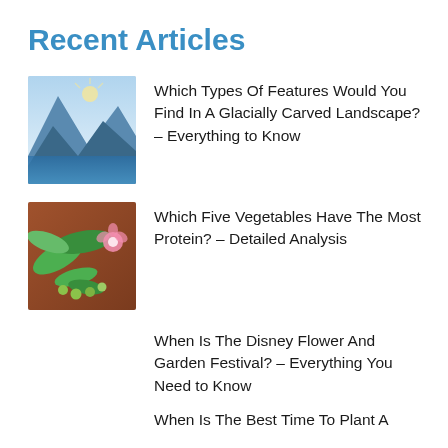Recent Articles
Which Types Of Features Would You Find In A Glacially Carved Landscape? – Everything to Know
Which Five Vegetables Have The Most Protein? – Detailed Analysis
When Is The Disney Flower And Garden Festival? – Everything You Need to Know
When Is The Best Time To Plant A